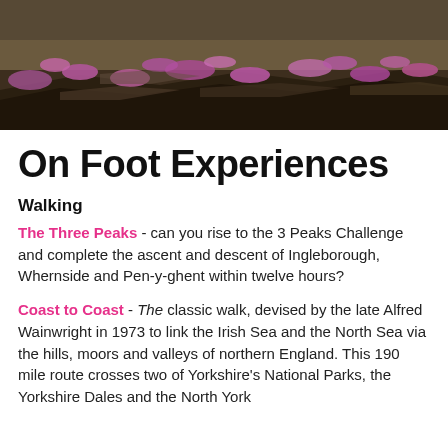[Figure (photo): Landscape photo of moorland with purple heather and rocky outcrops, cropped at the top of the page]
On Foot Experiences
Walking
The Three Peaks - can you rise to the 3 Peaks Challenge and complete the ascent and descent of Ingleborough, Whernside and Pen-y-ghent within twelve hours?
Coast to Coast - The classic walk, devised by the late Alfred Wainwright in 1973 to link the Irish Sea and the North Sea via the hills, moors and valleys of northern England. This 190 mile route crosses two of Yorkshire's National Parks, the Yorkshire Dales and the North York